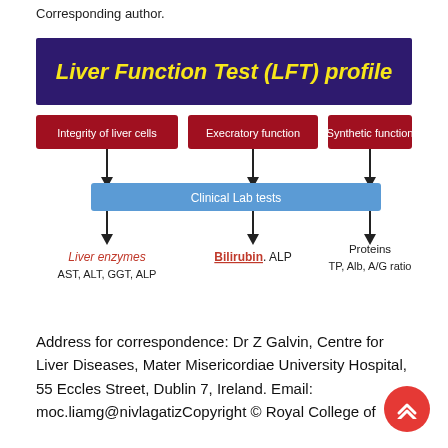Corresponding author.
[Figure (infographic): Liver Function Test (LFT) profile diagram showing three categories: Integrity of liver cells, Execratory function, Synthetic function — all feeding into Clinical Lab tests, which maps to Liver enzymes (AST, ALT, GGT, ALP), Bilirubin. ALP, and Proteins (TP, Alb, A/G ratio).]
Address for correspondence: Dr Z Galvin, Centre for Liver Diseases, Mater Misericordiae University Hospital, 55 Eccles Street, Dublin 7, Ireland. Email: moc.liamg@nivlagatizCopyright © Royal College of